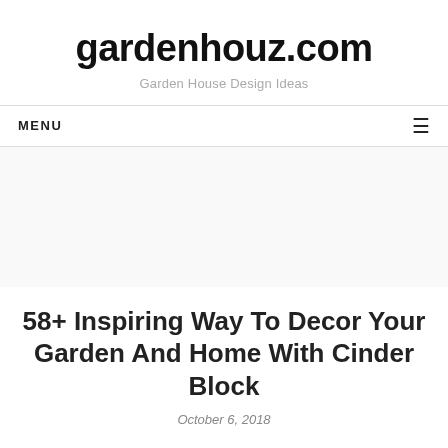gardenhouz.com
Garden House Design Ideas
MENU
58+ Inspiring Way To Decor Your Garden And Home With Cinder Block
October 6, 2018